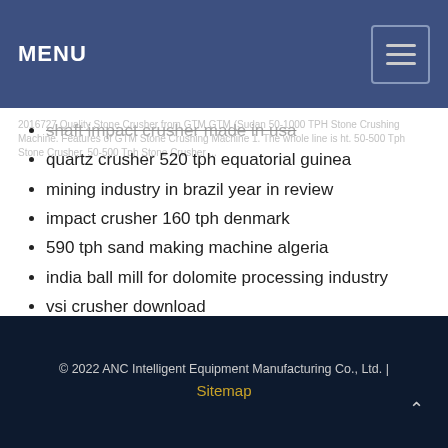MENU
shaft impact crusher made in usa
2016727 Quality Stone Crusher from GTM GTM (Sudan 50-1000 TPH Stone Crushing Machine. Features of GTM Stone Crushing Machine 1. The whole line is ht. 50-500 Tph Stone Crusher, 50-500 Tph Stone Crusher ...
quartz crusher 520 tph equatorial guinea
mining industry in brazil year in review
impact crusher 160 tph denmark
590 tph sand making machine algeria
india ball mill for dolomite processing industry
vsi crusher download
© 2022 ANC Intelligent Equipment Manufacturing Co., Ltd. | Sitemap